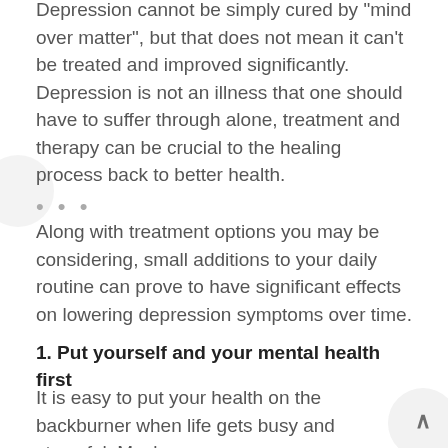Depression cannot be simply cured by "mind over matter", but that does not mean it can't be treated and improved significantly. Depression is not an illness that one should have to suffer through alone, treatment and therapy can be crucial to the healing process back to better health.
Along with treatment options you may be considering, small additions to your daily routine can prove to have significant effects on lowering depression symptoms over time.
1. Put yourself and your mental health first
It is easy to put your health on the backburner when life gets busy and stressful. Maybe you are